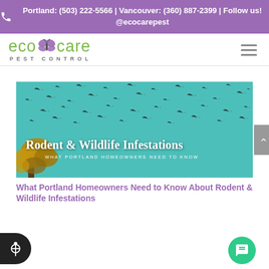Portland: (503) 222-5566 | Vancouver: (360) 887-2399 | Follow us! @ecocarepest
[Figure (logo): Eco Care Pest Control logo — green text with a purple butterfly icon between 'eco' and 'care', subtitle 'PEST CONTROL' in grey spaced letters]
[Figure (photo): Hero image with teal/blue sky background showing silhouettes of many birds/bats in flight, a golden tree in the lower left corner. Text overlay reads 'Rodent & Wildlife Infestations' and 'WHAT PORTLAND HOMEOWNERS NEED TO KNOW']
What Portland Homeowners Need to Know About Rodent & Wildlife Infestations